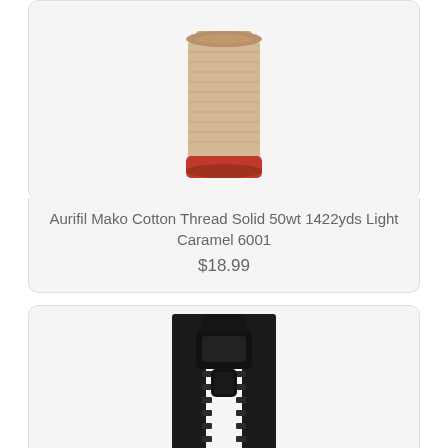[Figure (photo): A wooden thread spool with light caramel/beige colored thread wound around it and a red base, partially cropped at top]
Aurifil Mako Cotton Thread Solid 50wt 1422yds Light Caramel 6001
$18.99
[Figure (photo): A black zipper shown close up, partially open at the top with the zipper pull visible, against a white background]